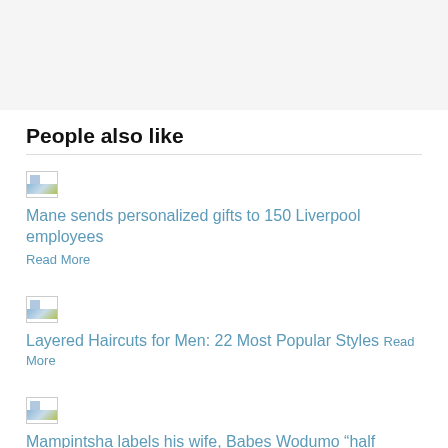[Figure (other): Gray placeholder area at top of page]
People also like
Mane sends personalized gifts to 150 Liverpool employees Read More
Layered Haircuts for Men: 22 Most Popular Styles Read More
Mampintsha labels his wife, Babes Wodumo “half Brenda Fassie, half Lebo Mathosa” Read More